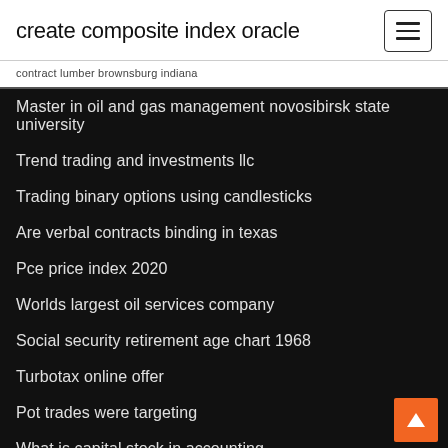create composite index oracle
contract lumber brownsburg indiana
Master in oil and gas management novosibirsk state university
Trend trading and investments llc
Trading binary options using candlesticks
Are verbal contracts binding in texas
Pce price index 2020
Worlds largest oil services company
Social security retirement age chart 1968
Turbotax online offer
Pot trades were targeting
What is capital stock in accounting